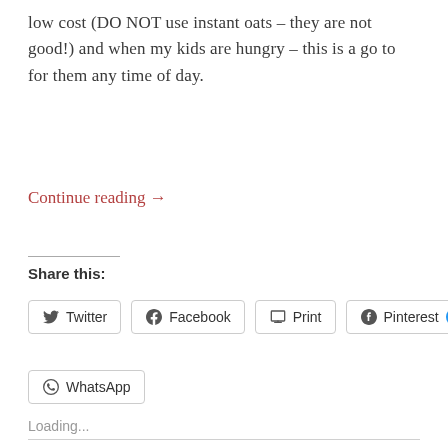low cost (DO NOT use instant oats – they are not good!) and when my kids are hungry – this is a go to for them any time of day.
Continue reading →
Share this:
[Figure (screenshot): Social sharing buttons: Twitter, Facebook, Print, Pinterest 3, WhatsApp]
Loading...